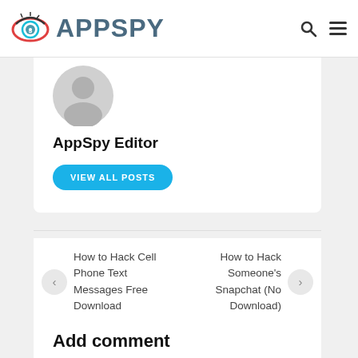APPSPY
[Figure (illustration): Grey silhouette avatar of a person]
AppSpy Editor
VIEW ALL POSTS
How to Hack Cell Phone Text Messages Free Download
How to Hack Someone's Snapchat (No Download)
Add comment
Comment